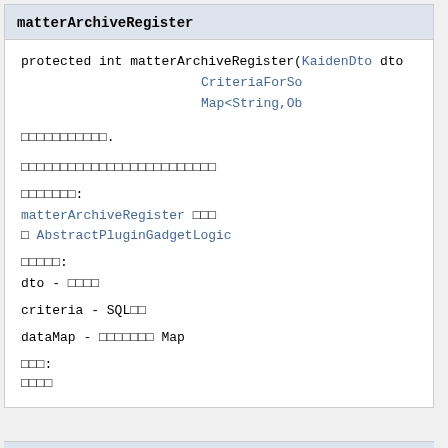matterArchiveRegister
protected int matterArchiveRegister(KaidenDto dto
                                    CriteriaForSo
                                    Map<String,Ob
□□□□□□□□□□□.
□□□□□□□□□□□□□□□□□□□□□□□□□
□□□□□□□:
matterArchiveRegister □□□
□ AbstractPluginGadgetLogic
□□□□□:
dto - □□□□
criteria - SQL□□
dataMap - □□□□□□□ Map
□□□:
□□□□